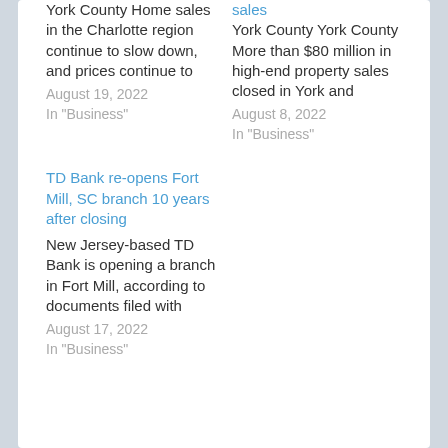York County Home sales in the Charlotte region continue to slow down, and prices continue to
August 19, 2022
In "Business"
sales York County York County More than $80 million in high-end property sales closed in York and
August 8, 2022
In "Business"
TD Bank re-opens Fort Mill, SC branch 10 years after closing
New Jersey-based TD Bank is opening a branch in Fort Mill, according to documents filed with
August 17, 2022
In "Business"